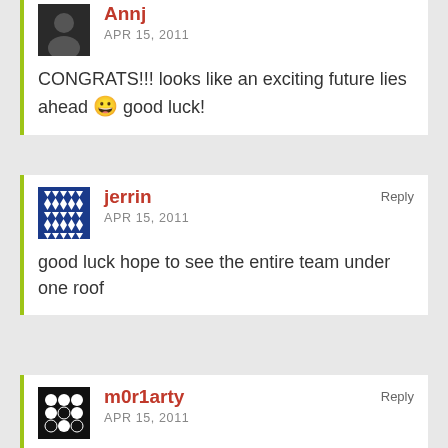Annj
APR 15, 2011
CONGRATS!!! looks like an exciting future lies ahead 😀 good luck!
jerrin
APR 15, 2011
Reply
good luck hope to see the entire team under one roof
m0r1arty
APR 15, 2011
Reply
Hey Seb, gratz!
Let any of those guys you